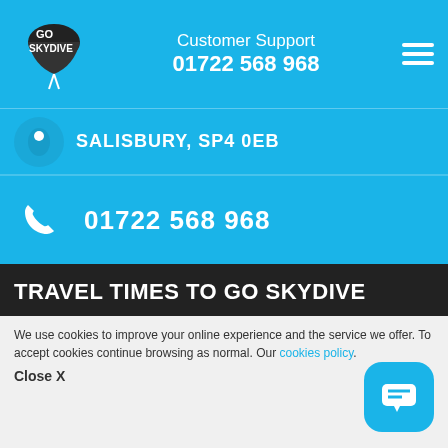Customer Support 01722 568 968
SALISBURY, SP4 0EB
01722 568 968
TRAVEL TIMES TO GO SKYDIVE
[Figure (map): Map showing travel times to Go Skydive from various cities: Oxford 1hr 20 mins, Bristol 1hr 35 mins, Bath 1hr 3 mins, London 1hr 35 mins, Basingstoke 46 mins]
We use cookies to improve your online experience and the service we offer. To accept cookies continue browsing as normal. Our cookies policy.
Close X